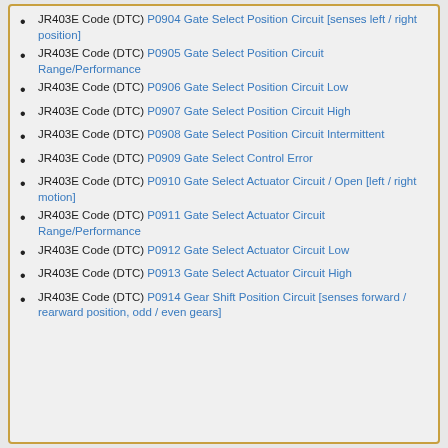JR403E Code (DTC) P0904 Gate Select Position Circuit [senses left / right position]
JR403E Code (DTC) P0905 Gate Select Position Circuit Range/Performance
JR403E Code (DTC) P0906 Gate Select Position Circuit Low
JR403E Code (DTC) P0907 Gate Select Position Circuit High
JR403E Code (DTC) P0908 Gate Select Position Circuit Intermittent
JR403E Code (DTC) P0909 Gate Select Control Error
JR403E Code (DTC) P0910 Gate Select Actuator Circuit / Open [left / right motion]
JR403E Code (DTC) P0911 Gate Select Actuator Circuit Range/Performance
JR403E Code (DTC) P0912 Gate Select Actuator Circuit Low
JR403E Code (DTC) P0913 Gate Select Actuator Circuit High
JR403E Code (DTC) P0914 Gear Shift Position Circuit [senses forward / rearward position, odd / even gears]